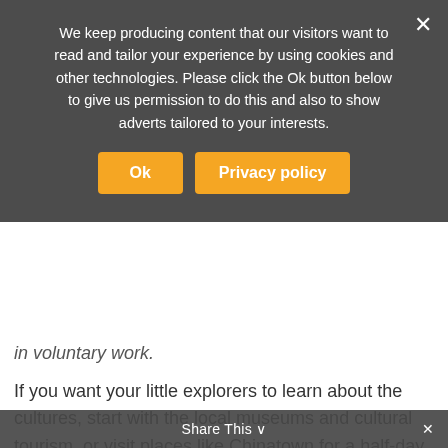We keep producing content that our visitors want to read and tailor your experience by using cookies and other technologies. Please click the Ok button below to give us permission to do this and also to show adverts tailored to your interests.
Ok | Privacy policy
in voluntary work.
If you want your little explorers to learn about the cultures, start with the local museums and cultural tourism, or visit places like Chinatown for a half-day family trip! If you want to explore nature, perhaps create a mini-adventure to walk in the woods and small hikes. Whatever comes easy around you is always a good beginning point to travel with kids.
Traveling with kids can be frustrating. Many parents even think that going far from home is unthinkable. However. When you travel with